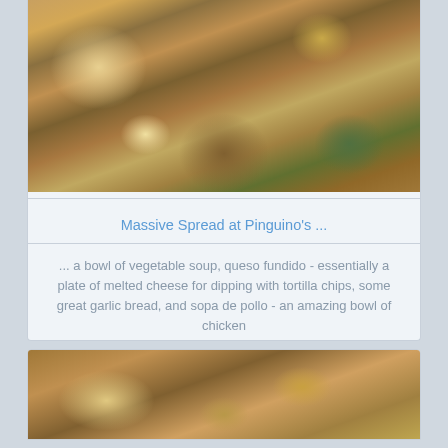[Figure (photo): Photo of a restaurant table spread with multiple dishes including a bowl of vegetable soup, queso fundido with tortilla chips, garlic bread in a basket, and sopa de pollo (chicken soup with vegetables including broccoli, carrots, and lime) on a blue placemat.]
Massive Spread at Pinguino's ...
... a bowl of vegetable soup, queso fundido - essentially a plate of melted cheese for dipping with tortilla chips, some great garlic bread, and sopa de pollo - an amazing bowl of chicken
[Figure (photo): Photo showing hands at a restaurant table, with a glass dish of melted cheese (queso fundido) and other food items visible on a blue placemat.]